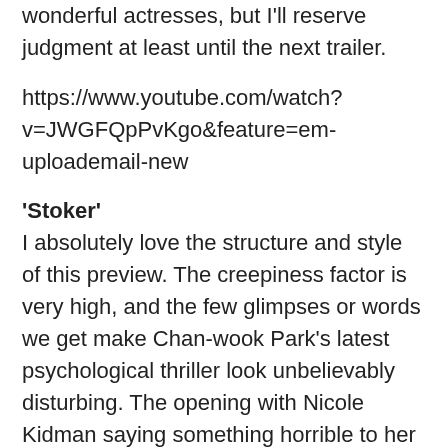wonderful actresses, but I'll reserve judgment at least until the next trailer.
https://www.youtube.com/watch?v=JWGFQpPvKgo&feature=em-uploademail-new
‘Stoker’
I absolutely love the structure and style of this preview. The creepiness factor is very high, and the few glimpses or words we get make Chan-wook Park’s latest psychological thriller look unbelievably disturbing. The opening with Nicole Kidman saying something horrible to her daughter is chilling, and Mia Wasikowska is spine-tinglingly creepy. Sadly, this is one of several projects that Tony Scott had been working on before his death. Arguably of more interest, the film is also ‘Prison Break’ star Wentworth Miller’s first screenplay to be